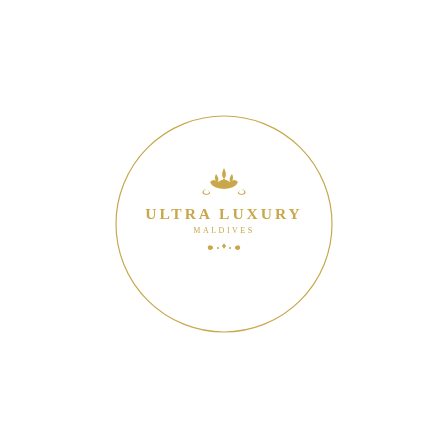[Figure (logo): Ultra Luxury Maldives circular logo: a white circle with a thin gold border, containing an ornate gold crown/filigree ornament at the top, the text ULTRA LUXURY in bold gold uppercase letters, MALDIVES in smaller gold uppercase letters below, and a small decorative gold scrollwork/flourish beneath]